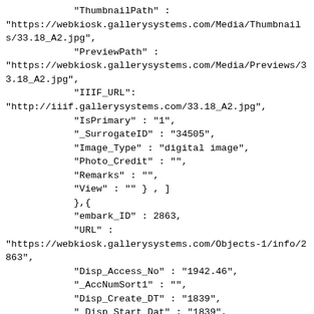"ThumbnailPath" :
"https://webkiosk.gallerysystems.com/Media/Thumbnails/33.18_A2.jpg",
            "PreviewPath" :
"https://webkiosk.gallerysystems.com/Media/Previews/33.18_A2.jpg",
            "IIIF_URL":
"http://iiif.gallerysystems.com/33.18_A2.jpg",
            "IsPrimary" : "1",
            "_SurrogateID" : "34505",
            "Image_Type" : "digital image",
            "Photo_Credit" : "",
            "Remarks" : "",
            "View" : "" } , ]
            },{{
            "embark_ID" : 2863,
            "URL" :
"https://webkiosk.gallerysystems.com/Objects-1/info/2863",
            "Disp_Access_No" : "1942.46",
            "_AccNumSort1" : "",
            "Disp_Create_DT" : "1839",
            "_Disp_Start_Dat" : "1839",
            "_Disp_End_Date" : "1839",
            "Disp_Title" : "Sampler",
            "Alt_Title" : "",
            "Obj_Title" : "",
            "Series_Title" : "",
            "Disp_Maker_1" : "Mary Hudson",
            "Sort_Artist" : "Hudson, Mary",